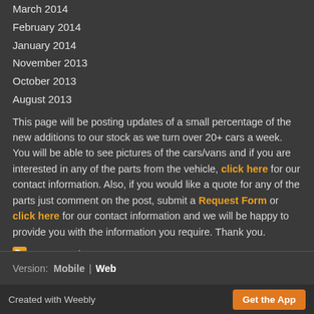March 2014
February 2014
January 2014
November 2013
October 2013
August 2013
This page will be posting updates of a small percentage of the new additions to our stock as we turn over 20+ cars a week. You will be able to see pictures of the cars/vans and if you are interested in any of the parts from the vehicle, click here for our contact information. Also, if you would like a quote for any of the parts just comment on the post, submit a Request Form or click here for our contact information and we will be happy to provide you with the information you require. Thank you.
RSS Feed
Version: Mobile | Web
Created with Weebly  Get the App